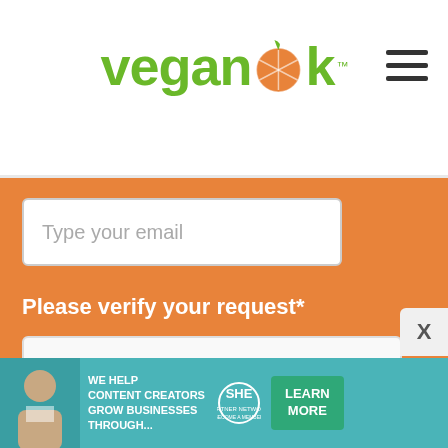[Figure (logo): VeganOk logo with green text and orange citrus slice replacing the letter 'o', with trademark symbol]
[Figure (screenshot): Hamburger menu icon (three horizontal lines) in top right of header]
Type your email
Please verify your request*
[Figure (screenshot): reCAPTCHA widget with checkbox labeled 'I'm not a robot', reCAPTCHA logo, Privacy - Terms links]
Join >>
[Figure (screenshot): Advertisement banner: WE HELP CONTENT CREATORS GROW BUSINESSES THROUGH... SHE PARTNER NETWORK BECOME A MEMBER, with LEARN MORE button]
X